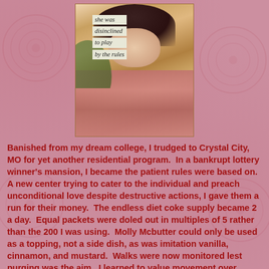[Figure (illustration): Vintage collage-style photo of a woman in a floral off-shoulder dress with dark hair, surrounded by tropical leaves. Overlaid cutout text labels reading: 'she was', 'disinclined', 'to play', 'by the rules'.]
Banished from my dream college, I trudged to Crystal City, MO for yet another residential program. In a bankrupt lottery winner's mansion, I became the patient rules were based on. A new center trying to cater to the individual and preach unconditional love despite destructive actions, I gave them a run for their money. The endless diet coke supply became 2 a day. Equal packets were doled out in multiples of 5 rather than the 200 I was using. Molly Mcbutter could only be used as a topping, not a side dish, as was imitation vanilla, cinnamon, and mustard. Walks were now monitored lest purging was the aim. I learned to value movement over words and invest in art scribbles over childhood analysis. I heard the staffing whispers of being stuck, unsure how to cure my tendency to crash every time I stepped out their front doors. Rule #1 the new rules were a fair guide. The new rules...